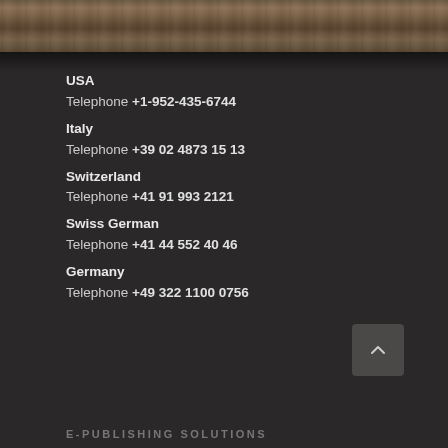[Figure (photo): Wooden textured bar across the top of the page, dark brown wood grain pattern]
USA
Telephone +1-952-435-6744
Italy
Telephone +39 02 4873 15 13
Switzerland
Telephone +41 91 993 2121
Swiss German
Telephone +41 44 552 40 46
Germany
Telephone +49 322 1100 0756
E-PUBLISHING SOLUTIONS